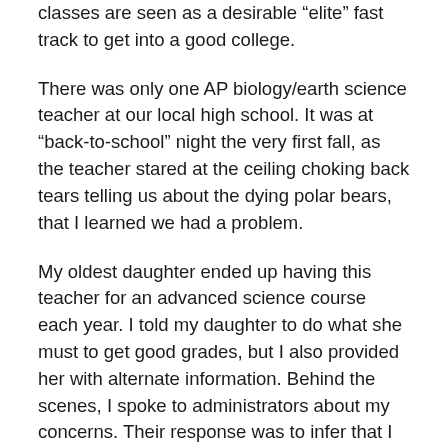classes are seen as a desirable “elite” fast track to get into a good college.
There was only one AP biology/earth science teacher at our local high school. It was at “back-to-school” night the very first fall, as the teacher stared at the ceiling choking back tears telling us about the dying polar bears, that I learned we had a problem.
My oldest daughter ended up having this teacher for an advanced science course each year. I told my daughter to do what she must to get good grades, but I also provided her with alternate information. Behind the scenes, I spoke to administrators about my concerns. Their response was to infer that I am not very sophisticated and certainly not as wise as they are. My daughter begged me not to agitate the teacher, the principal, or the other parents out